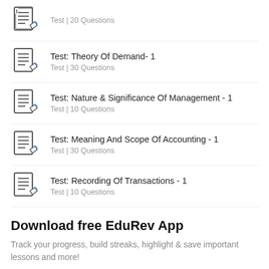Test | 20 Questions
Test: Theory Of Demand- 1
Test | 30 Questions
Test: Nature & Significance Of Management - 1
Test | 10 Questions
Test: Meaning And Scope Of Accounting - 1
Test | 30 Questions
Test: Recording Of Transactions - 1
Test | 10 Questions
Download free EduRev App
Track your progress, build streaks, highlight & save important lessons and more!